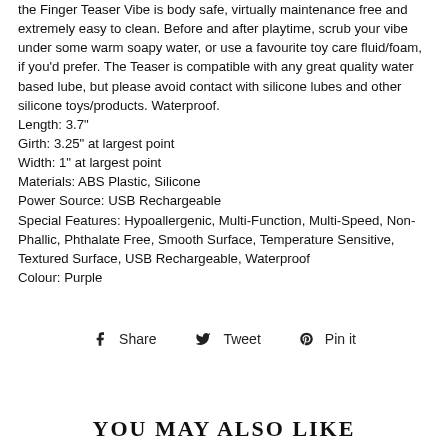the Finger Teaser Vibe is body safe, virtually maintenance free and extremely easy to clean. Before and after playtime, scrub your vibe under some warm soapy water, or use a favourite toy care fluid/foam, if you'd prefer. The Teaser is compatible with any great quality water based lube, but please avoid contact with silicone lubes and other silicone toys/products. Waterproof.
Length: 3.7"
Girth: 3.25" at largest point
Width: 1" at largest point
Materials: ABS Plastic, Silicone
Power Source: USB Rechargeable
Special Features: Hypoallergenic, Multi-Function, Multi-Speed, Non-Phallic, Phthalate Free, Smooth Surface, Temperature Sensitive, Textured Surface, USB Rechargeable, Waterproof
Colour: Purple
[Figure (other): Social sharing bar with Facebook Share, Twitter Tweet, and Pinterest Pin it icons]
YOU MAY ALSO LIKE